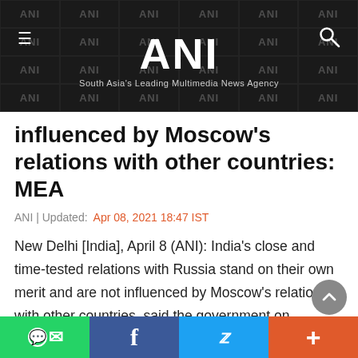ANI | South Asia's Leading Multimedia News Agency
influenced by Moscow's relations with other countries: MEA
ANI | Updated: Apr 08, 2021 18:47 IST
New Delhi [India], April 8 (ANI): India's close and time-tested relations with Russia stand on their own merit and are not influenced by Moscow's relations with other countries, said the government on Thursday.